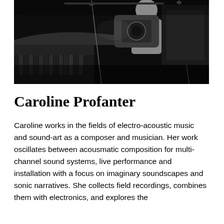[Figure (photo): Black and white photograph of a person performing at a piano with microphone stands visible, shot in a dark concert/performance setting.]
Caroline Profanter
Caroline works in the fields of electro-acoustic music and sound-art as a composer and musician. Her work oscillates between acousmatic composition for multi-channel sound systems, live performance and installation with a focus on imaginary soundscapes and sonic narratives. She collects field recordings, combines them with electronics, and explores the